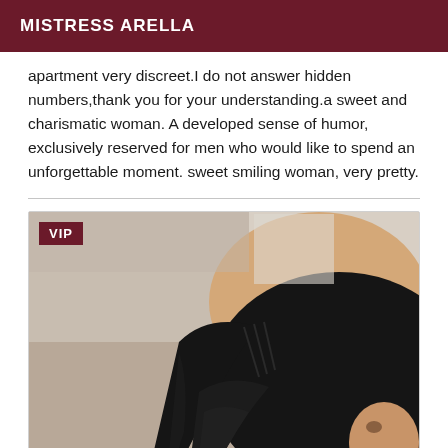MISTRESS ARELLA
apartment very discreet.I do not answer hidden numbers,thank you for your understanding.a sweet and charismatic woman. A developed sense of humor, exclusively reserved for men who would like to spend an unforgettable moment. sweet smiling woman, very pretty.
[Figure (photo): Photo of a woman with dark hair wearing black lace lingerie, VIP badge in top-left corner]